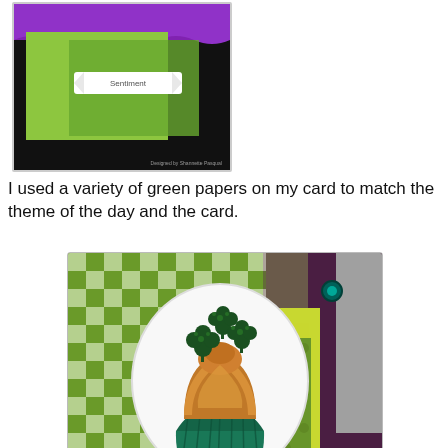[Figure (photo): Card layout thumbnail showing a black background with purple banner at top, green layered paper panels, and a white banner/sentiment strip in the middle. Small design credit text at bottom right.]
I used a variety of green papers on my card to match the theme of the day and the card.
[Figure (photo): Close-up photo of a handmade card featuring a stamped and colored cupcake image with green foil wrapper, golden/amber icing made with Gold Pearl liquid pearls, and dark green glittery shamrock/clover decorations on top. The cupcake is mounted on a white oval label. The card background uses multiple patterned green papers including a green and white checkered pattern, a geometric diamond pattern in greens and purples, and a yellow-green floral/star pattern. Teal/dark green gem brads are visible at corners.]
Closer view of the cupcake. I used pine green stickles for the clovers and Gold Pearl liquid pearls for the icing (I was impressed how well it turned out looks just like icing :) I was glad to give it a try on the cupcake. The rest of the stamp was colored with bic makers. I cut it with SB Labels Nine and